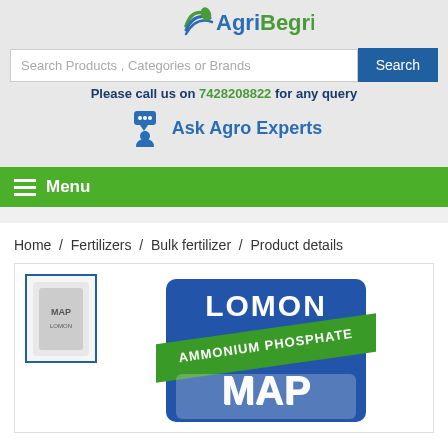[Figure (logo): AgriBegri logo with blue and green swoosh design]
Search Products , Categories or Brands
Please call us on 7428208822 for any query
Ask Agro Experts
Menu
Home / Fertilizers / Bulk fertilizer / Product details
[Figure (photo): Lomon MAP Monoammonium Phosphate fertilizer bag - blue bag with green banner, large text LOMON, AMMONIUM PHOSPHATE, MAP]